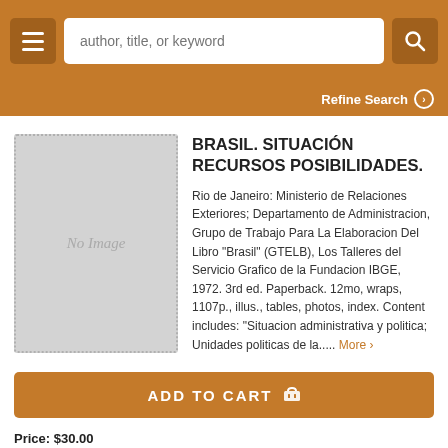author, title, or keyword
Refine Search
BRASIL. SITUACIÓN RECURSOS POSIBILIDADES.
[Figure (other): Book cover placeholder showing 'No Image' text in italic on grey background with dotted border]
Rio de Janeiro: Ministerio de Relaciones Exteriores; Departamento de Administracion, Grupo de Trabajo Para La Elaboracion Del Libro "Brasil" (GTELB), Los Talleres del Servicio Grafico de la Fundacion IBGE, 1972. 3rd ed. Paperback. 12mo, wraps, 1107p., illus., tables, photos, index. Content includes: "Situacion administrativa y politica; Unidades politicas de la..... More ›
ADD TO CART
Price: $30.00